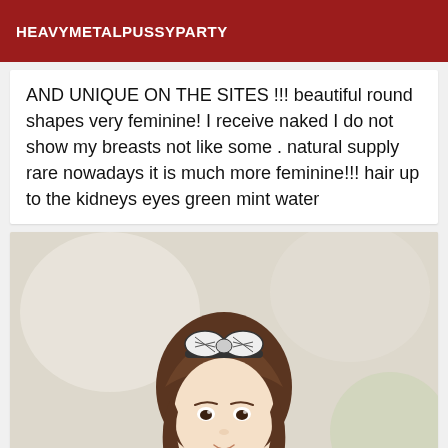HEAVYMETALPUSSYPARTY
AND UNIQUE ON THE SITES !!! beautiful round shapes very feminine! I receive naked I do not show my breasts not like some . natural supply rare nowadays it is much more feminine!!! hair up to the kidneys eyes green mint water
[Figure (photo): A young woman with long brown hair and a striped bow headband, smiling, photographed from above the shoulders against a bright blurred background.]